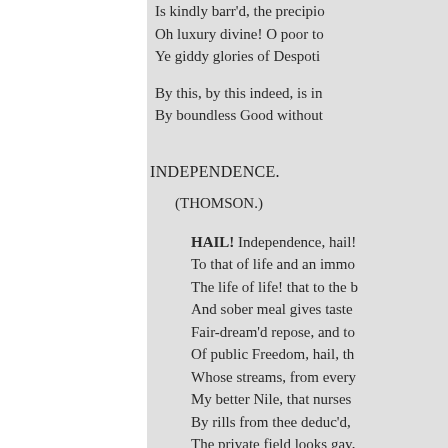Is kindly barr'd, the precipio
Oh luxury divine! O poor to
Ye giddy glories of Despoti
By this, by this indeed, is in
By boundless Good without
INDEPENDENCE.
(THOMSON.)
HAIL! Independence, hail!
To that of life and an immo
The life of life! that to the b
And sober meal gives taste
Fair-dream'd repose, and to
Of public Freedom, hail, th
Whose streams, from every
My better Nile, that nurses
By rills from thee deduc'd,
The private field looks gay,
Abundant flows, and bloom
That nature craves. Its happ
The only Free-man, walks l
Stern-featur'd Prose atte...